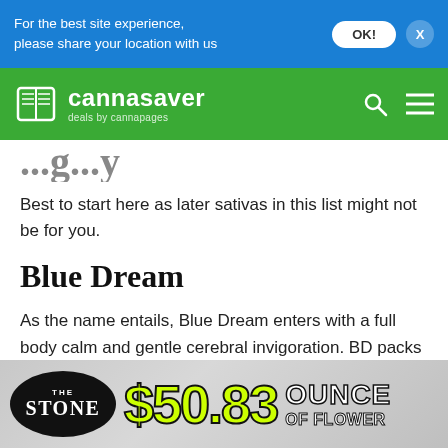For the best site experience, please share your location with us
[Figure (logo): Cannasaver - deals by cannapages logo with green header background, search and menu icons]
Best to start here as later sativas in this list might not be for you.
Blue Dream
As the name entails, Blue Dream enters with a full body calm and gentle cerebral invigoration. BD packs a powerful buzz without rendering yourself too high. The strain offers swift relief without a feeling of being sedated.
[Figure (infographic): The Stone dispensary ad banner: The Stone logo on black oval, $50.83 in large yellow-green text, OUNCE OF FLOWER in white bold text]